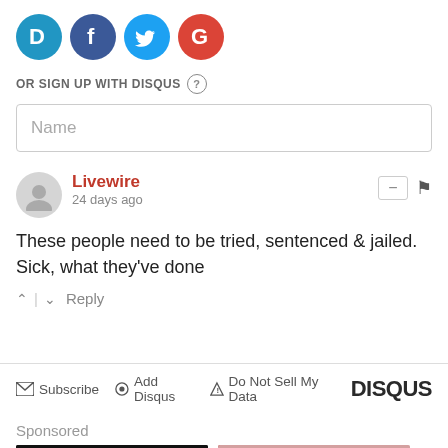[Figure (logo): Social login buttons: Disqus (blue), Facebook (dark blue), Twitter (light blue), Google (red) circular icons]
OR SIGN UP WITH DISQUS ?
Name
Livewire
24 days ago
These people need to be tried, sentenced & jailed. Sick, what they've done
^ | v  Reply
Subscribe  Add Disqus  Do Not Sell My Data  DISQUS
Sponsored